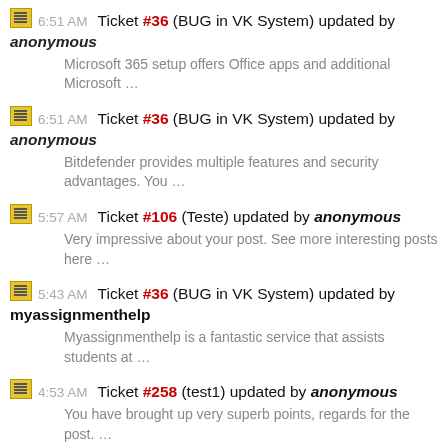6:51 AM Ticket #36 (BUG in VK System) updated by anonymous
Microsoft 365 setup offers Office apps and additional Microsoft …
6:51 AM Ticket #36 (BUG in VK System) updated by anonymous
Bitdefender provides multiple features and security advantages. You …
5:57 AM Ticket #106 (Teste) updated by anonymous
Very impressive about your post. See more interesting posts here …
5:43 AM Ticket #36 (BUG in VK System) updated by myassignmenthelp
Myassignmenthelp is a fantastic service that assists students at …
4:53 AM Ticket #258 (test1) updated by anonymous
You have brought up very superb points, regards for the post. …
1:59 AM Ticket #175 (Biden promised Covid-19 vaccines